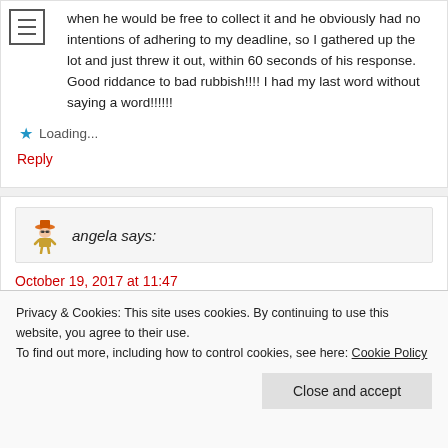when he would be free to collect it and he obviously had no intentions of adhering to my deadline, so I gathered up the lot and just threw it out, within 60 seconds of his response. Good riddance to bad rubbish!!!! I had my last word without saying a word!!!!!!
Loading...
Reply
angela says:
October 19, 2017 at 11:47
Privacy & Cookies: This site uses cookies. By continuing to use this website, you agree to their use.
To find out more, including how to control cookies, see here: Cookie Policy
Close and accept